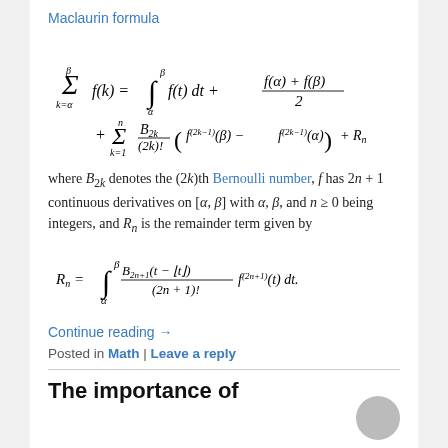Maclaurin formula
where B_{2k} denotes the (2k)th Bernoulli number, f has 2n+1 continuous derivatives on [α, β] with α, β, and n ≥ 0 being integers, and R_n is the remainder term given by
Continue reading →
Posted in Math | Leave a reply
The importance of